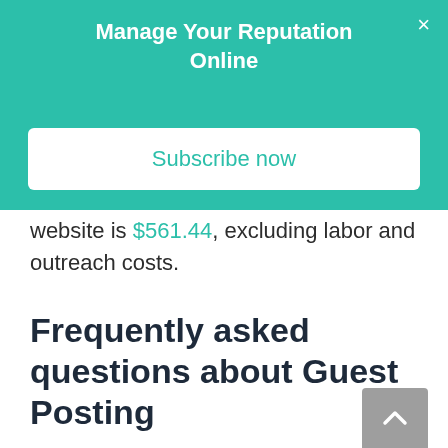Manage Your Reputation Online
Subscribe now
website is $561.44, excluding labor and outreach costs.
Frequently asked questions about Guest Posting